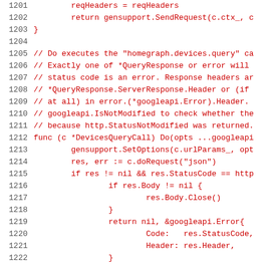Source code listing, lines 1201-1222, Go language
1202    return gensupport.SendRequest(c.ctx_, c
1203    }
1204
1205    // Do executes the "homegraph.devices.query" ca
1206    // Exactly one of *QueryResponse or error will
1207    // status code is an error. Response headers ar
1208    // *QueryResponse.ServerResponse.Header or (if
1209    // at all) in error.(*googleapi.Error).Header.
1210    // googleapi.IsNotModified to check whether the
1211    // because http.StatusNotModified was returned.
1212    func (c *DevicesQueryCall) Do(opts ...googleapi
1213            gensupport.SetOptions(c.urlParams_, opt
1214            res, err := c.doRequest("json")
1215            if res != nil && res.StatusCode == http
1216                    if res.Body != nil {
1217                            res.Body.Close()
1218                    }
1219                    return nil, &googleapi.Error{
1220                            Code:   res.StatusCode,
1221                            Header: res.Header,
1222                    }